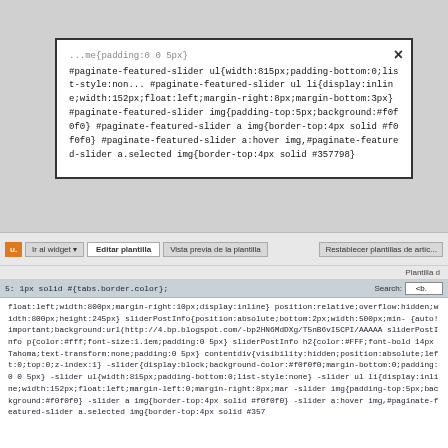[Figure (screenshot): A modal/popup dialog showing CSS code for #paginate-featured-slider styles, with a close (X) button in the top right corner.]
[Figure (screenshot): A blog template editor panel with a toolbar (Ir al widget, Editar plantilla, Vista previa de la plantilla, Restablecer plantillas de artículo buttons), a search bar, and a code editor area showing CSS template code with inline styles.]